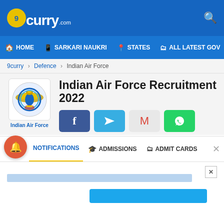9curry.com
HOME | SARKARI NAUKRI | STATES | ALL LATEST GOV
9curry › Defence › Indian Air Force
Indian Air Force Recruitment 2022
[Figure (logo): Indian Air Force emblem logo with eagle and text 'Indian Air Force']
[Figure (infographic): Social share buttons: Facebook, Telegram, Gmail, WhatsApp]
NOTIFICATIONS | ADMISSIONS | ADMIT CARDS
[Figure (screenshot): Advertisement banner area with close button and blue bar content]